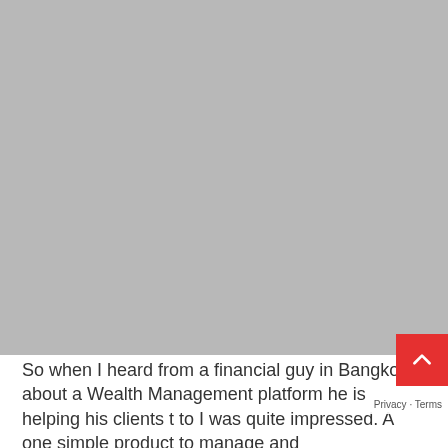[Figure (photo): Large gray placeholder image occupying the top portion of the page]
So when I heard from a financial guy in Bangkok about a Wealth Management platform he is helping his clients t to I was quite impressed. A one simple product to manage and
[Figure (other): Red scroll-to-top button with white chevron arrow, overlaid on the bottom-right corner]
Privacy · Terms